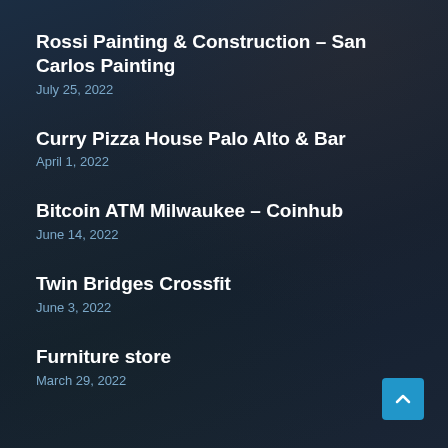Rossi Painting & Construction – San Carlos Painting
July 25, 2022
Curry Pizza House Palo Alto & Bar
April 1, 2022
Bitcoin ATM Milwaukee – Coinhub
June 14, 2022
Twin Bridges Crossfit
June 3, 2022
Furniture store
March 29, 2022